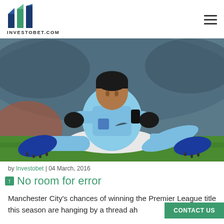INVESTOBET.COM
[Figure (photo): A Manchester City footballer in light blue kit sitting on the pitch after a fall, wearing black gloves and blue boots.]
by Investobet | 04 March, 2016
No room for error
Manchester City's chances of winning the Premier League title this season are hanging by a thread ah